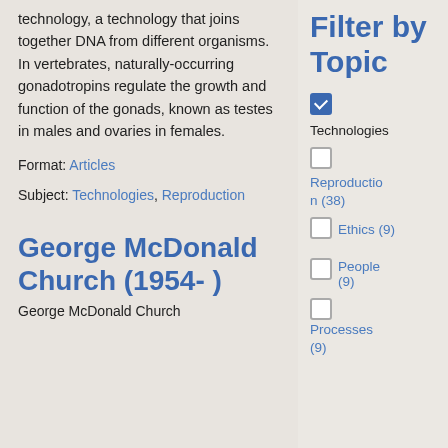technology, a technology that joins together DNA from different organisms. In vertebrates, naturally-occurring gonadotropins regulate the growth and function of the gonads, known as testes in males and ovaries in females.
Format: Articles
Subject: Technologies, Reproduction
George McDonald Church (1954- )
George McDonald Church
Filter by Topic
Technologies (checked)
Reproduction (38)
Ethics (9)
People (9)
Processes (9)